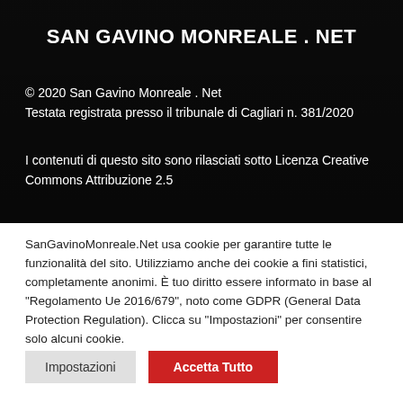SAN GAVINO MONREALE . NET
© 2020 San Gavino Monreale . Net
Testata registrata presso il tribunale di Cagliari n. 381/2020
I contenuti di questo sito sono rilasciati sotto Licenza Creative Commons Attribuzione 2.5
SanGavinoMonreale.Net usa cookie per garantire tutte le funzionalità del sito. Utilizziamo anche dei cookie a fini statistici, completamente anonimi. È tuo diritto essere informato in base al "Regolamento Ue 2016/679", noto come GDPR (General Data Protection Regulation). Clicca su "Impostazioni" per consentire solo alcuni cookie.
Impostazioni | Accetta Tutto